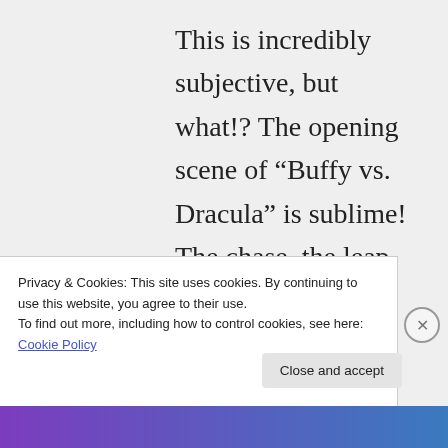This is incredibly subjective, but what!? The opening scene of “Buffy vs. Dracula” is sublime! The chase, the leap off the tombstone, and the smooth transition into the staking is one of the
Privacy & Cookies: This site uses cookies. By continuing to use this website, you agree to their use.
To find out more, including how to control cookies, see here: Cookie Policy
Close and accept